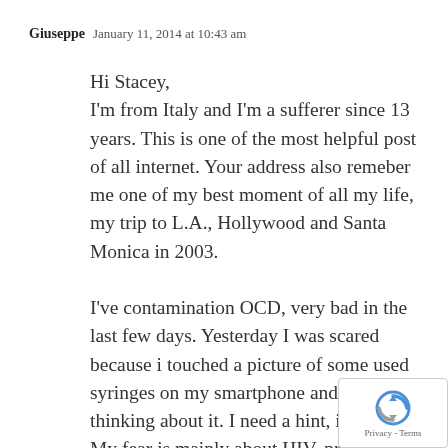Giuseppe   January 11, 2014 at 10:43 am
Hi Stacey,
I'm from Italy and I'm a sufferer since 13 years. This is one of the most helpful post of all internet. Your address also remeber me one of my best moment of all my life, my trip to L.A., Hollywood and Santa Monica in 2003.
I've contamination OCD, very bad in the last few days. Yesterday I was scared because i touched a picture of some used syringes on my smartphone and i'm still thinking about it. I need a hint, if possible. My fear is mainly about HIV, probably because is a long t... and potentially fatal illness. I try to expla... someone tell me that if you share your glass...